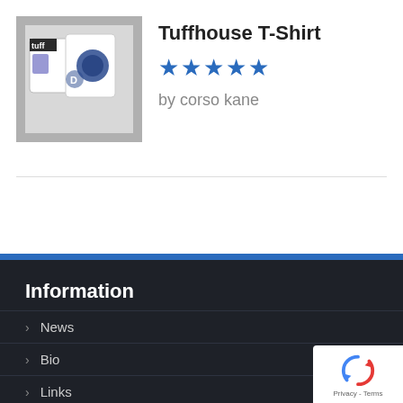[Figure (photo): Product photo of Tuffhouse T-Shirt showing white t-shirts with blue graphic prints]
Tuffhouse T-Shirt
★★★★★
by corso kane
Information
News
Bio
Links
Privacy Policy
Terms & Conditions